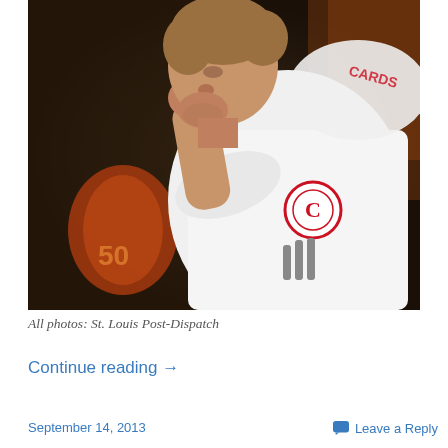[Figure (photo): A baseball player in a white St. Louis Cardinals uniform sits hunched over with his hand raised to his face/chin, appearing dejected or thoughtful. The player is viewed from the side/back angle. Background is dark and blurred showing dugout environment.]
All photos: St. Louis Post-Dispatch
Continue reading →
September 14, 2013
Leave a Reply